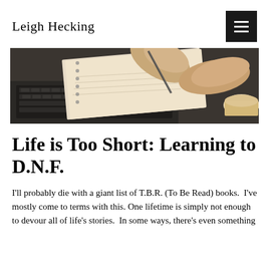Leigh Hecking
[Figure (photo): Close-up photo of hands writing in a notebook on top of a laptop keyboard, with a coffee cup visible in the lower right corner. Black and white tones with warm notebook tones.]
Life is Too Short: Learning to D.N.F.
I'll probably die with a giant list of T.B.R. (To Be Read) books.  I've mostly come to terms with this. One lifetime is simply not enough to devour all of life's stories.  In some ways, there's even something